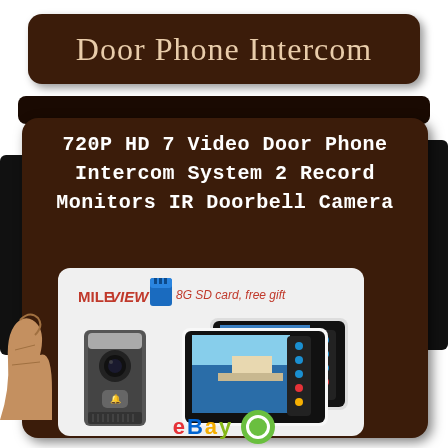Door Phone Intercom
720P HD 7 Video Door Phone Intercom System 2 Record Monitors IR Doorbell Camera
[Figure (photo): Product listing image showing MILEVIEW brand video door phone intercom system with two 7-inch monitors and doorbell camera unit, with 8G SD card free gift offer, eBay listing]
eBay